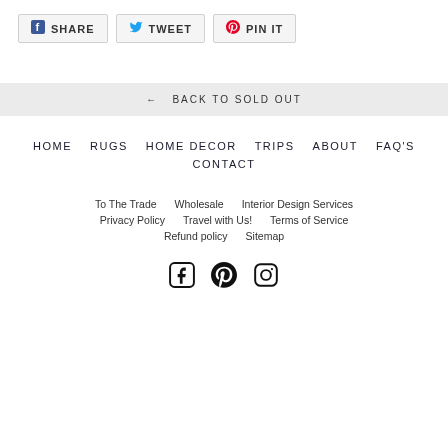SHARE
TWEET
PIN IT
← BACK TO SOLD OUT
HOME   RUGS   HOME DECOR   TRIPS   ABOUT   FAQ'S   CONTACT
To The Trade   Wholesale   Interior Design Services
Privacy Policy   Travel with Us!   Terms of Service
Refund policy   Sitemap
[Figure (illustration): Social media icons: Facebook, Pinterest, Instagram]